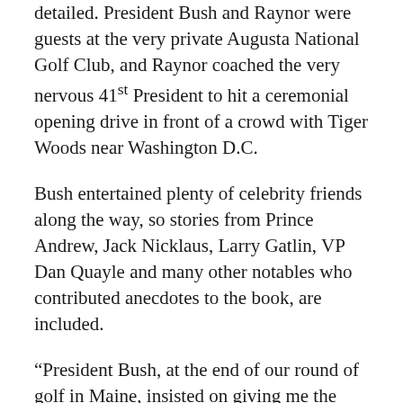detailed. President Bush and Raynor were guests at the very private Augusta National Golf Club, and Raynor coached the very nervous 41st President to hit a ceremonial opening drive in front of a crowd with Tiger Woods near Washington D.C.
Bush entertained plenty of celebrity friends along the way, so stories from Prince Andrew, Jack Nicklaus, Larry Gatlin, VP Dan Quayle and many other notables who contributed anecdotes to the book, are included.
“President Bush, at the end of our round of golf in Maine, insisted on giving me the dollar I’d won from him in a gentleman’s bet on the course. I wanted him to autograph it but was concerned that somehow defacing federal currency was a crime, so I didn’t ask him to do it,” says NBC’s star sports commentator Jimmy Roberts. “Someone hearing this story later reminded me, ‘President Bush was accompanied all that day by two Secret Service agents who work for the Treasury Department...’  All I needed to do was